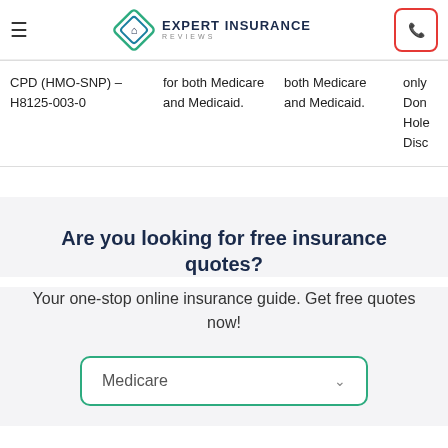Expert Insurance Reviews
| Plan | Eligibility | Coverage | Extra |
| --- | --- | --- | --- |
| CPD (HMO-SNP) – H8125-003-0 | for both Medicare and Medicaid. | both Medicare and Medicaid. | only Don Hole Disc |
Are you looking for free insurance quotes?
Your one-stop online insurance guide. Get free quotes now!
Medicare